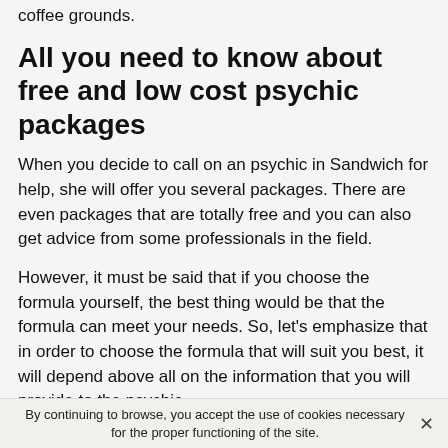coffee grounds.
All you need to know about free and low cost psychic packages
When you decide to call on an psychic in Sandwich for help, she will offer you several packages. There are even packages that are totally free and you can also get advice from some professionals in the field.
However, it must be said that if you choose the formula yourself, the best thing would be that the formula can meet your needs. So, let's emphasize that in order to choose the formula that will suit you best, it will depend above all on the information that you will provide to the psychic.
I offer you free clairvoyance in Sandwich
By continuing to browse, you accept the use of cookies necessary for the proper functioning of the site.